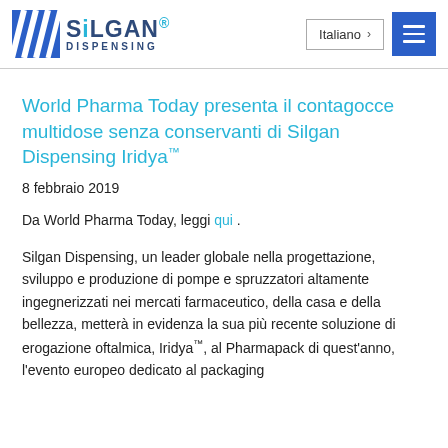Silgan Dispensing — Italiano — Menu
World Pharma Today presenta il contagocce multidose senza conservanti di Silgan Dispensing Iridya™
8 febbraio 2019
Da World Pharma Today, leggi qui .
Silgan Dispensing, un leader globale nella progettazione, sviluppo e produzione di pompe e spruzzatori altamente ingegnerizzati nei mercati farmaceutico, della casa e della bellezza, metterà in evidenza la sua più recente soluzione di erogazione oftalmica, Iridya™, al Pharmapack di quest'anno, l'evento europeo dedicato al packaging